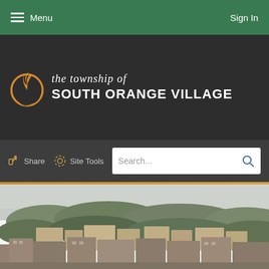Menu  Sign In
[Figure (logo): Township of South Orange Village logo with orange crescent/palm leaf graphic and white text]
the township of SOUTH ORANGE VILLAGE
Share  Site Tools  Search...
[Figure (photo): Aerial view of South Orange Village downtown area with brick buildings, trees, and hazy sky in background]